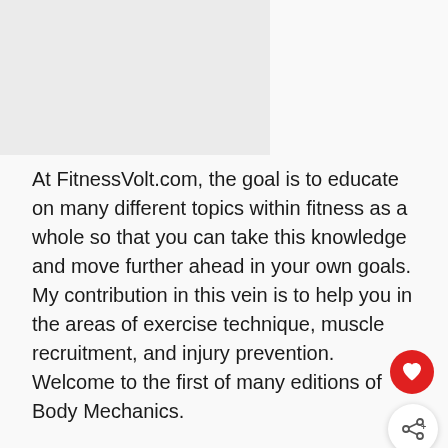[Figure (photo): Gray image placeholder area at top left of the page]
At FitnessVolt.com, the goal is to educate on many different topics within fitness as a whole so that you can take this knowledge and move further ahead in your own goals. My contribution in this vein is to help you in the areas of exercise technique, muscle recruitment, and injury prevention. Welcome to the first of many editions of Body Mechanics.
As the first edition of Body Mechanics should set the precedence for future articles, I present to you this weeks featured exercise – The Squat.